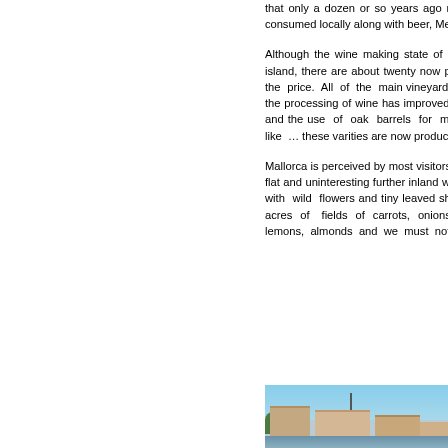that only a dozen or so years ago mainly produced red wines while the white wines were mainly consumed locally along with beer, Menorcan gin and of course jug...
Although the wine making state of affairs in Mallorca is sadly still relatively unknown outside the island, there are about twenty now producing stunning wines that can command at least double the price. All of the main vineyards I have visited over the past few years have great facilities and the processing of wine has improved vastly with proper control of the fermentation temperatures and the use of oak barrels for maturing wines. The planting of the more popular grape varities like ... these varities are now producing ma...
Mallorca is perceived by most visitors as a sun, sea and beautiful golden beaches with everything flat and uninteresting further inland where the rolling hills of the central plain are extremely fertile with wild flowers and tiny leaved shrubs. Follow the country roads and come upon acres and acres of fields of carrots, onions, potatos and green salads. Further on we find oranges, lemons, almonds and we must not forget the vines. A paradise, sadly to so few visitors.
[Figure (photo): A photograph of a Mediterranean harbour town with buildings, boats, a mast, and trees visible against a blue sky.]